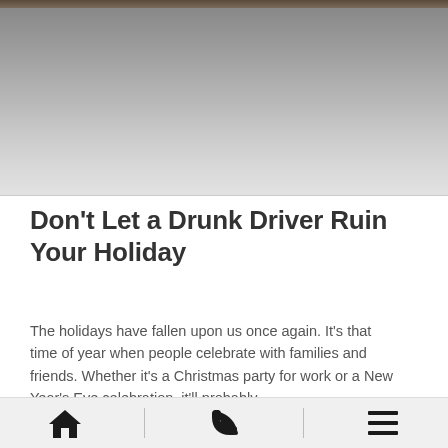[Figure (photo): Partially visible photograph at top of page, appears dark/moody with gradient fading to light gray]
Don't Let a Drunk Driver Ruin Your Holiday
The holidays have fallen upon us once again. It's that time of year when people celebrate with families and friends. Whether it's a Christmas party for work or a New Year's Eve celebration, it'll probably
Home | Phone | Menu navigation bar